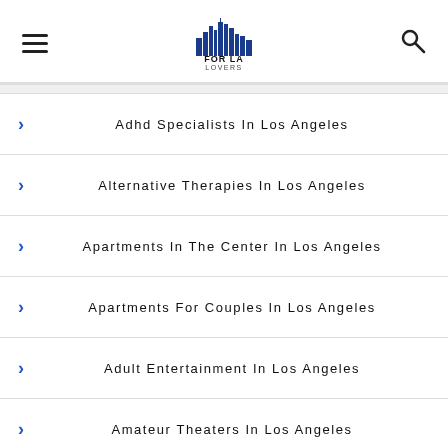FOR LA LOVERS
Adhd Specialists In Los Angeles
Alternative Therapies In Los Angeles
Apartments In The Center In Los Angeles
Apartments For Couples In Los Angeles
Adult Entertainment In Los Angeles
Amateur Theaters In Los Angeles
Art Galleries In Los Angeles
Art Rooms In Los Angeles